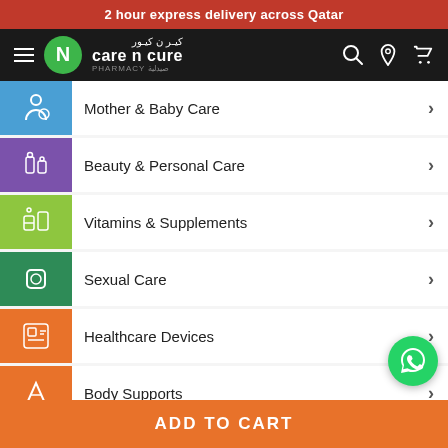2 hour express delivery across Qatar
[Figure (logo): Care N Cure Pharmacy logo with navigation bar on dark background]
Mother & Baby Care
Beauty & Personal Care
Vitamins & Supplements
Sexual Care
Healthcare Devices
Body Supports
Chocolates & Food Stuffs
ADD TO CART